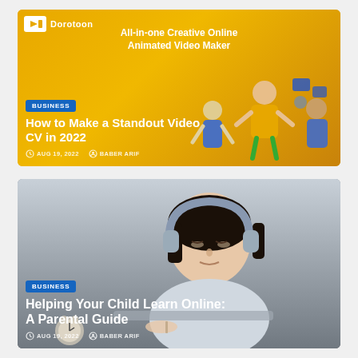[Figure (screenshot): Blog card 1: Dorotoon branded banner with yellow background showing animated figures, title 'How to Make a Standout Video CV in 2022', BUSINESS badge, date AUG 19, 2022, author BABER ARIF]
[Figure (screenshot): Blog card 2: Photo of a young woman wearing headphones studying at a desk, title 'Helping Your Child Learn Online: A Parental Guide', BUSINESS badge, date AUG 19, 2022, author BABER ARIF]